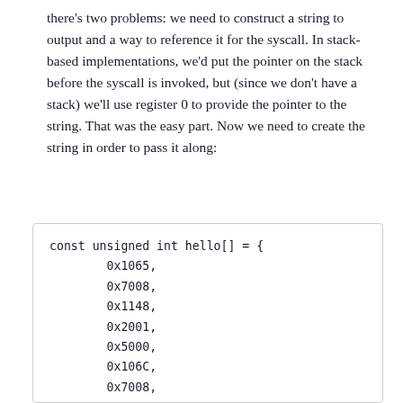there's two problems: we need to construct a string to output and a way to reference it for the syscall. In stack-based implementations, we'd put the pointer on the stack before the syscall is invoked, but (since we don't have a stack) we'll use register 0 to provide the pointer to the string. That was the easy part. Now we need to create the string in order to pass it along:
[Figure (other): Code block showing a C array declaration: const unsigned int hello[] = { 0x1065, 0x7008, 0x1148, 0x2001, 0x5000, 0x106C, 0x7008, 0x116C, 0x2001, 0x5001, 0x1020, 0x7008, 0x116E, ... }]